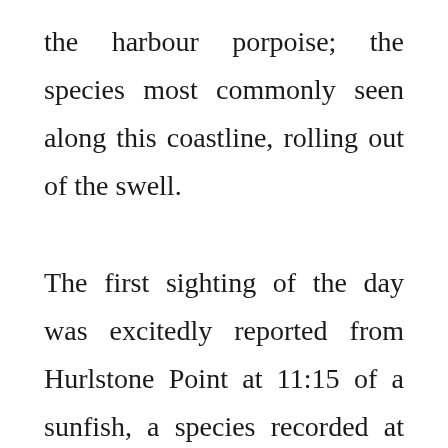the harbour porpoise; the species most commonly seen along this coastline, rolling out of the swell.

The first sighting of the day was excitedly reported from Hurlstone Point at 11:15 of a sunfish, a species recorded at least once a year around the Exmoor coast in the summer months. At 12:10 a brief glimpse of a harbour porpoise was spotted at Porlock Weir heading east. For the remainder of the 2 hour watch no other confident